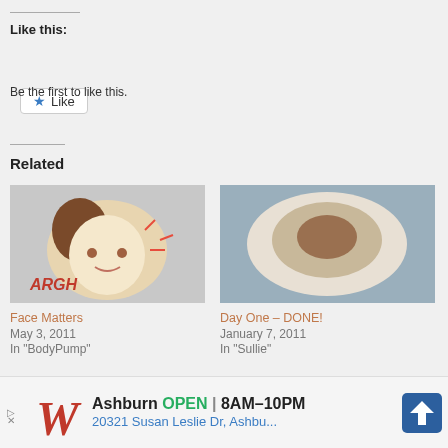Like this:
[Figure (screenshot): Like button with star icon]
Be the first to like this.
Related
[Figure (illustration): Cartoon girl with frustrated expression holding a mirror, text ARGH in red]
Face Matters
May 3, 2011
In "BodyPump"
[Figure (photo): Photo of a bowl with food, oatmeal or similar dish]
Day One – DONE!
January 7, 2011
In "Sullie"
[Figure (photo): Partial photo of food on a plate, partially visible at bottom]
[Figure (screenshot): Walgreens advertisement banner: Ashburn OPEN 8AM-10PM, 20321 Susan Leslie Dr, Ashbu...]